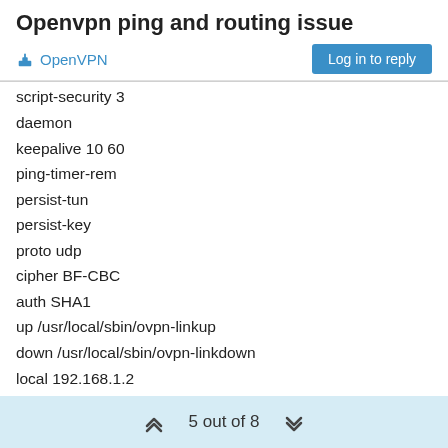Openvpn ping and routing issue
OpenVPN
Log in to reply
script-security 3
daemon
keepalive 10 60
ping-timer-rem
persist-tun
persist-key
proto udp
cipher BF-CBC
auth SHA1
up /usr/local/sbin/ovpn-linkup
down /usr/local/sbin/ovpn-linkdown
local 192.168.1.2
tls-server
server 10.0.8.0 255.255.255.0
client-config-dir /var/etc/openvpn-csc
tls-verify "/usr/local/sbin/ovpn_auth_verify tls 'internalserverce' 1 "
5 out of 8